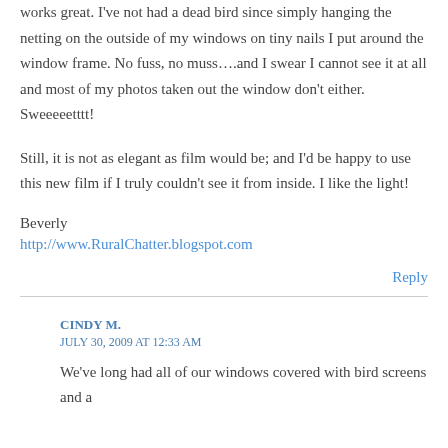works great. I've not had a dead bird since simply hanging the netting on the outside of my windows on tiny nails I put around the window frame. No fuss, no muss….and I swear I cannot see it at all and most of my photos taken out the window don't either. Sweeeeetttt!
Still, it is not as elegant as film would be; and I'd be happy to use this new film if I truly couldn't see it from inside. I like the light!
Beverly
http://www.RuralChatter.blogspot.com
Reply
CINDY M.
JULY 30, 2009 AT 12:33 AM
We've long had all of our windows covered with bird screens and a